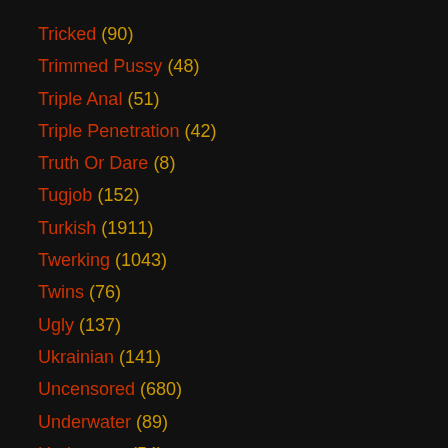Tricked (90)
Trimmed Pussy (48)
Triple Anal (51)
Triple Penetration (42)
Truth Or Dare (8)
Tugjob (152)
Turkish (1911)
Twerking (1043)
Twins (76)
Ugly (137)
Ukrainian (141)
Uncensored (680)
Underwater (89)
Underwear (54)
Undressing (123)